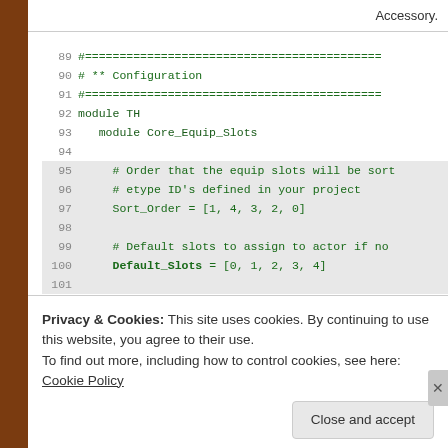Accessory.
[Figure (screenshot): Code editor screenshot showing Ruby module configuration code for Core_Equip_Slots, lines 89-101, with line numbers and green monospace font on white/light gray background]
[Figure (screenshot): RPG game UI panel showing character 'Eric' with ATK 16 stat and a Change button, with blue/dark game interface styling]
Privacy & Cookies: This site uses cookies. By continuing to use this website, you agree to their use.
To find out more, including how to control cookies, see here: Cookie Policy
Close and accept